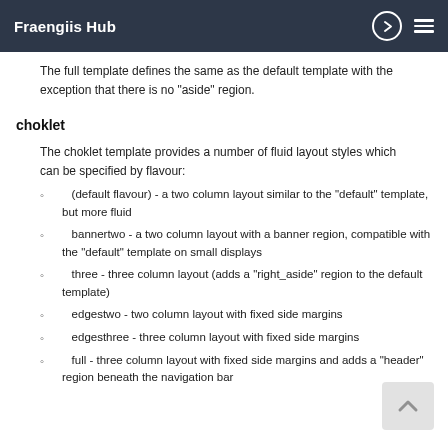Fraengiis Hub
The full template defines the same as the default template with the exception that there is no "aside" region.
choklet
The choklet template provides a number of fluid layout styles which can be specified by flavour:
(default flavour) - a two column layout similar to the "default" template, but more fluid
bannertwo - a two column layout with a banner region, compatible with the "default" template on small displays
three - three column layout (adds a "right_aside" region to the default template)
edgestwo - two column layout with fixed side margins
edgesthree - three column layout with fixed side margins
full - three column layout with fixed side margins and adds a "header" region beneath the navigation bar